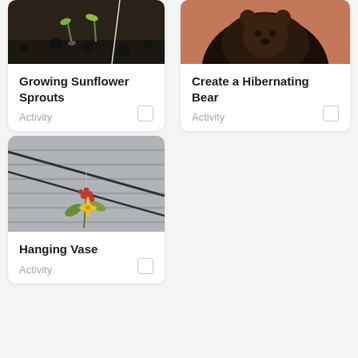[Figure (photo): Photo of sunflower sprouts growing in dark soil]
Growing Sunflower Sprouts
Activity
[Figure (photo): Photo of a hibernating bear in a dark cave/den]
Create a Hibernating Bear
Activity
[Figure (photo): Photo of a hanging vase with red berries and yellow flowers against a grey siding wall]
Hanging Vase
Activity